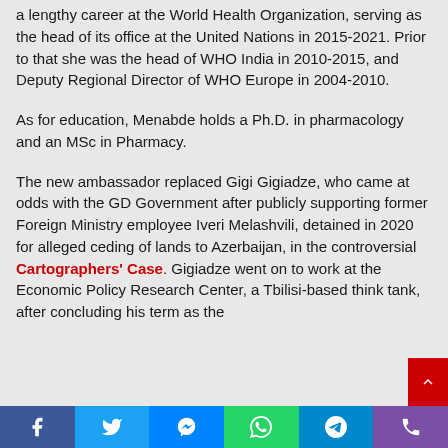a lengthy career at the World Health Organization, serving as the head of its office at the United Nations in 2015-2021. Prior to that she was the head of WHO India in 2010-2015, and Deputy Regional Director of WHO Europe in 2004-2010.
As for education, Menabde holds a Ph.D. in pharmacology and an MSc in Pharmacy.
The new ambassador replaced Gigi Gigiadze, who came at odds with the GD Government after publicly supporting former Foreign Ministry employee Iveri Melashvili, detained in 2020 for alleged ceding of lands to Azerbaijan, in the controversial Cartographers' Case. Gigiadze went on to work at the Economic Policy Research Center, a Tbilisi-based think tank, after concluding his term as the
Social share bar: Facebook, Twitter, Messenger, WhatsApp, Telegram, Phone